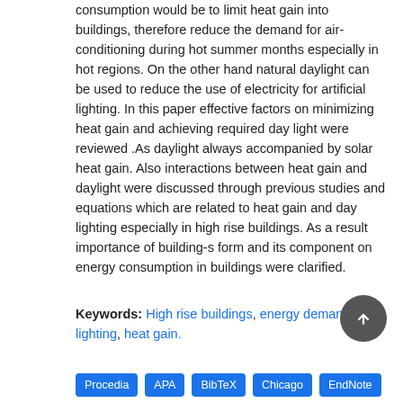consumption would be to limit heat gain into buildings, therefore reduce the demand for air-conditioning during hot summer months especially in hot regions. On the other hand natural daylight can be used to reduce the use of electricity for artificial lighting. In this paper effective factors on minimizing heat gain and achieving required day light were reviewed .As daylight always accompanied by solar heat gain. Also interactions between heat gain and daylight were discussed through previous studies and equations which are related to heat gain and day lighting especially in high rise buildings. As a result importance of building-s form and its component on energy consumption in buildings were clarified.
Keywords: High rise buildings, energy demand, day lighting, heat gain.
[Figure (other): Scroll-to-top circular button with upward arrow icon]
Procedia   APA   BibTeX   Chicago   EndNote